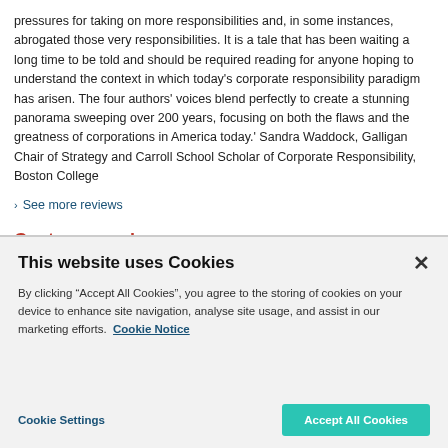pressures for taking on more responsibilities and, in some instances, abrogated those very responsibilities. It is a tale that has been waiting a long time to be told and should be required reading for anyone hoping to understand the context in which today's corporate responsibility paradigm has arisen. The four authors' voices blend perfectly to create a stunning panorama sweeping over 200 years, focusing on both the flaws and the greatness of corporations in America today.' Sandra Waddock, Galligan Chair of Strategy and Carroll School Scholar of Corporate Responsibility, Boston College
See more reviews
Customer reviews
This website uses Cookies
By clicking "Accept All Cookies", you agree to the storing of cookies on your device to enhance site navigation, analyse site usage, and assist in our marketing efforts. Cookie Notice
Cookie Settings
Accept All Cookies